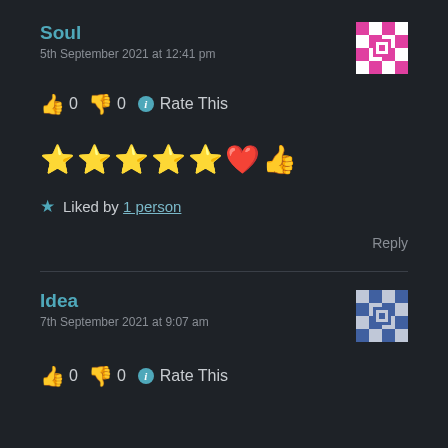Soul
5th September 2021 at 12:41 pm
👍 0 👎 0 ℹ Rate This
⭐⭐⭐⭐⭐❤️👍
★ Liked by 1 person
Reply
Idea
7th September 2021 at 9:07 am
👍 0 👎 0 ℹ Rate This